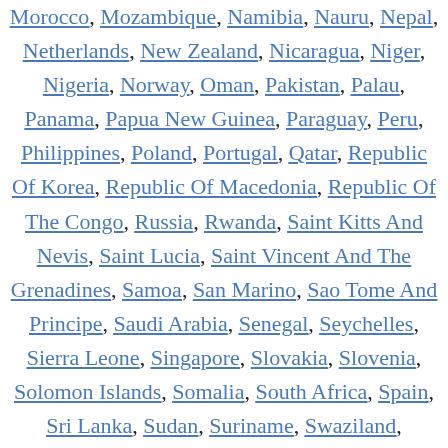Morocco, Mozambique, Namibia, Nauru, Nepal, Netherlands, New Zealand, Nicaragua, Niger, Nigeria, Norway, Oman, Pakistan, Palau, Panama, Papua New Guinea, Paraguay, Peru, Philippines, Poland, Portugal, Qatar, Republic Of Korea, Republic Of Macedonia, Republic Of The Congo, Russia, Rwanda, Saint Kitts And Nevis, Saint Lucia, Saint Vincent And The Grenadines, Samoa, San Marino, Sao Tome And Principe, Saudi Arabia, Senegal, Seychelles, Sierra Leone, Singapore, Slovakia, Slovenia, Solomon Islands, Somalia, South Africa, Spain, Sri Lanka, Sudan, Suriname, Swaziland, Sweden, Switzerland, Syria, Taiwan, Tajikistan, Tanzania, Thailand, The Bahamas, Togo, Tonga, Trinidad And Tobago, Tunisia